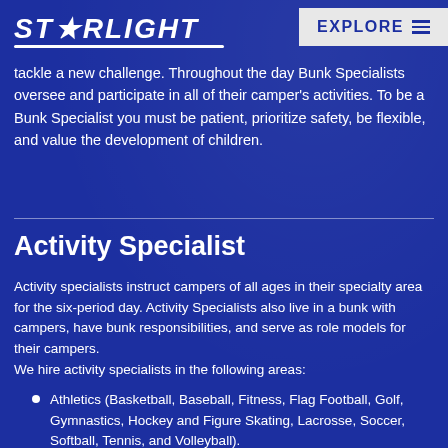STARLIGHT | EXPLORE
tackle a new challenge. Throughout the day Bunk Specialists oversee and participate in all of their camper's activities. To be a Bunk Specialist you must be patient, prioritize safety, be flexible, and value the development of children.
Activity Specialist
Activity specialists instruct campers of all ages in their specialty area for the six-period day. Activity Specialists also live in a bunk with campers, have bunk responsibilities, and serve as role models for their campers.
We hire activity specialists in the following areas:
Athletics (Basketball, Baseball, Fitness, Flag Football, Golf, Gymnastics, Hockey and Figure Skating, Lacrosse, Soccer, Softball, Tennis, and Volleyball).
Creative Arts (Arts & Crafts, Ceramics, Cooking, ...